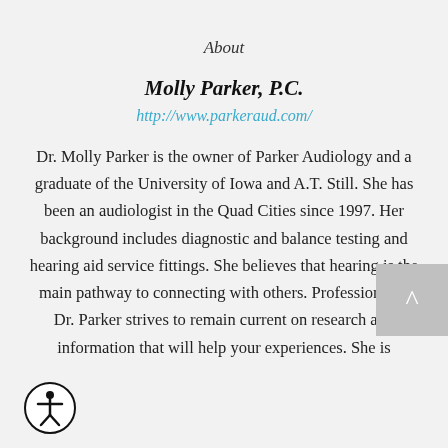About
Molly Parker, P.C.
http://www.parkeraud.com/
Dr. Molly Parker is the owner of Parker Audiology and a graduate of the University of Iowa and A.T. Still. She has been an audiologist in the Quad Cities since 1997. Her background includes diagnostic and balance testing and hearing aid service fittings. She believes that hearing is the main pathway to connecting with others. Professionally, Dr. Parker strives to remain current on research and information that will help your experiences. She is